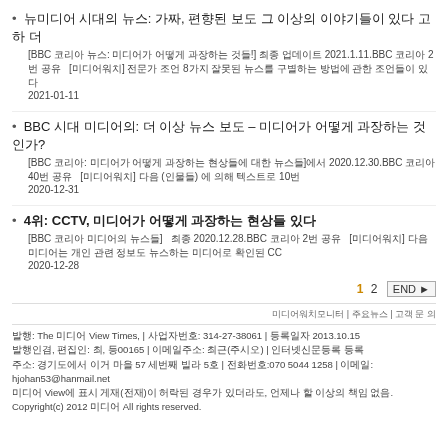뉴미디어 시대의 뉴스: 가짜, 편향된 보도 그 이상의 이야기들이 있다 [BBC 코리아 뉴스: 미디어가 어떻게 사실을 과장하는 것들!] 최종 업데이트 2021.1.11. BBC 코리아 2번 공유 [미디어워치] 전문가 조언 8가지 잘못된 뉴스를 구별하는 방법에 관한 조언들이 있다 2021-01-11
BBC 시대 미디어의: 더 이상 뉴스 보도 – 미디어가 어떻게 과장하는 것인가? [BBC 코리아: 미디어가 어떻게 과장하는 현상들에 대한 뉴스들]에서 2020.12.30. BBC 코리아 40번 공유 [미디어워치] 다음 (인물들) 에 의해 텍스트로 10번 2020-12-31
4위: CCTV, 미디어가 어떻게 과장하는 현상들 [BBC 코리아 미디어의 뉴스들] 최종 2020.12.28. BBC 코리아 2번 공유 [미디어워치] 다음 미디어는 개인 관련 정보도 뉴스하는 미디어로 확인된 CC 2020-12-28
1  2  END ►
미디어워치모니터 | 주요뉴스 | 고객 문의
발행: The 미디어 View Times, | 사업자번호: 314-27-38061 | 등록일자 2013.10.15
발행인겸, 편집인: 최, 등00165 | 이메일주소: 최근(주시오) | 인터넷신문 등록
주소: 경기도에서 이거 마을 57 세번째 빌라 5호 | 전화번호:070 5044 1258 | 이메일: hjohan53@hanmail.net
미디어 View에 표시 게재(전재)이 허락된 경우가 있더라도, 언제나 할 이상의 책임 없음.
Copyright(c) 2012 미디어 All rights reserved.